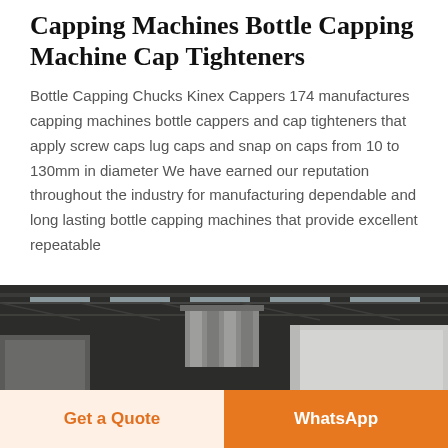Capping Machines Bottle Capping Machine Cap Tighteners
Bottle Capping Chucks Kinex Cappers 174 manufactures capping machines bottle cappers and cap tighteners that apply screw caps lug caps and snap on caps from 10 to 130mm in diameter We have earned our reputation throughout the industry for manufacturing dependable and long lasting bottle capping machines that provide excellent repeatable
[Figure (photo): Industrial factory interior showing capping machine equipment with metal ductwork and warehouse ceiling structure]
Get a Quote
WhatsApp